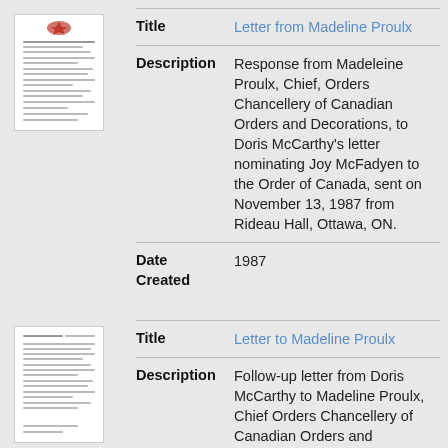[Figure (photo): Thumbnail image of a letter document with a red maple leaf/crest logo at top]
| Field | Value |
| --- | --- |
| Title | Letter from Madeline Proulx |
| Description | Response from Madeleine Proulx, Chief, Orders Chancellery of Canadian Orders and Decorations, to Doris McCarthy's letter nominating Joy McFadyen to the Order of Canada, sent on November 13, 1987 from Rideau Hall, Ottawa, ON. |
| Date Created | 1987 |
[Figure (photo): Thumbnail image of a typed letter document]
| Field | Value |
| --- | --- |
| Title | Letter to Madeline Proulx |
| Description | Follow-up letter from Doris McCarthy to Madeline Proulx, Chief Orders Chancellery of Canadian Orders and Decorations, regarding the nomination two years |